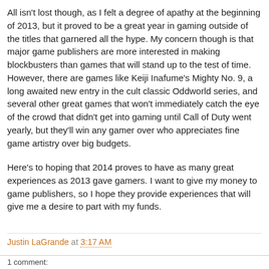All isn't lost though, as I felt a degree of apathy at the beginning of 2013, but it proved to be a great year in gaming outside of the titles that garnered all the hype. My concern though is that major game publishers are more interested in making blockbusters than games that will stand up to the test of time. However, there are games like Keiji Inafume's Mighty No. 9, a long awaited new entry in the cult classic Oddworld series, and several other great games that won't immediately catch the eye of the crowd that didn't get into gaming until Call of Duty went yearly, but they'll win any gamer over who appreciates fine game artistry over big budgets.
Here's to hoping that 2014 proves to have as many great experiences as 2013 gave gamers. I want to give my money to game publishers, so I hope they provide experiences that will give me a desire to part with my funds.
Justin LaGrande at 3:17 AM